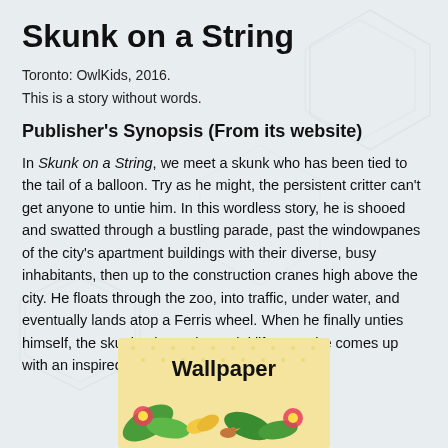Skunk on a String
Toronto: OwlKids, 2016.
This is a story without words.
Publisher's Synopsis (From its website)
In Skunk on a String, we meet a skunk who has been tied to the tail of a balloon. Try as he might, the persistent critter can't get anyone to untie him. In this wordless story, he is shooed and swatted through a bustling parade, past the windowpanes of the city's apartment buildings with their diverse, busy inhabitants, then up to the construction cranes high above the city. He floats through the zoo, into traffic, under water, and eventually lands atop a Ferris wheel. When he finally unties himself, the skunk misses the aerial life — so he comes up with an inspired way to fly again.
[Figure (illustration): Book cover of 'Wallpaper' with colorful tropical illustration showing flowers, leaves, and animals on a yellow dotted background]